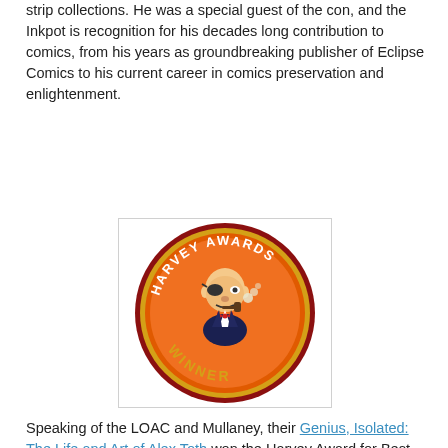strip collections.  He was a special guest of the con, and the Inkpot is recognition for his decades long contribution to comics, from his years as groundbreaking publisher of Eclipse Comics to his current career in comics preservation and enlightenment.
[Figure (logo): Harvey Awards Winner badge — circular orange badge with red border and gold trim, featuring a caricature illustration of a man in a tuxedo smoking a pipe, with the text HARVEY AWARDS arched around the top and WINNER in gold letters along the bottom]
Speaking of the LOAC and Mullaney, their Genius, Isolated: The Life and Art of Alex Toth won the Harvey Award for Best Biographical, Historical or Journalistic Presentation.  This book and it's sequel, "Genius, Illustrated" are essential